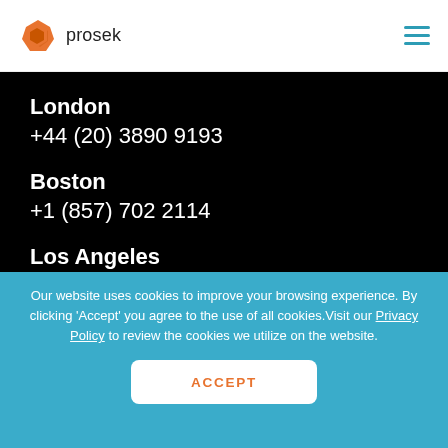prosek
London
+44 (20) 3890 9193
Boston
+1 (857) 702 2114
Los Angeles
+1 (310) 785 0810
Washington D.C.
Our website uses cookies to improve your browsing experience. By clicking 'Accept' you agree to the use of all cookies.Visit our Privacy Policy to review the cookies we utilize on the website.
ACCEPT